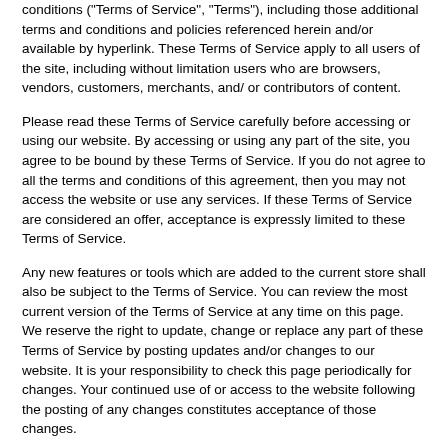conditions ("Terms of Service", "Terms"), including those additional terms and conditions and policies referenced herein and/or available by hyperlink. These Terms of Service apply to all users of the site, including without limitation users who are browsers, vendors, customers, merchants, and/ or contributors of content.
Please read these Terms of Service carefully before accessing or using our website. By accessing or using any part of the site, you agree to be bound by these Terms of Service. If you do not agree to all the terms and conditions of this agreement, then you may not access the website or use any services. If these Terms of Service are considered an offer, acceptance is expressly limited to these Terms of Service.
Any new features or tools which are added to the current store shall also be subject to the Terms of Service. You can review the most current version of the Terms of Service at any time on this page. We reserve the right to update, change or replace any part of these Terms of Service by posting updates and/or changes to our website. It is your responsibility to check this page periodically for changes. Your continued use of or access to the website following the posting of any changes constitutes acceptance of those changes.